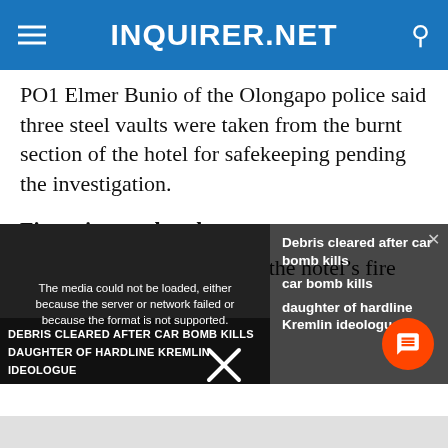INQUIRER.NET
PO1 Elmer Bunio of the Olongapo police said three steel vaults were taken from the burnt section of the hotel for safekeeping pending the investigation.
Fire exit was closed
Firemen also found out that the hotel's fire exit
[Figure (screenshot): Embedded video player showing 'Debris cleared after car bomb kills daughter of hardline Kremlin ideologue' with a media error message overlay and a chat button.]